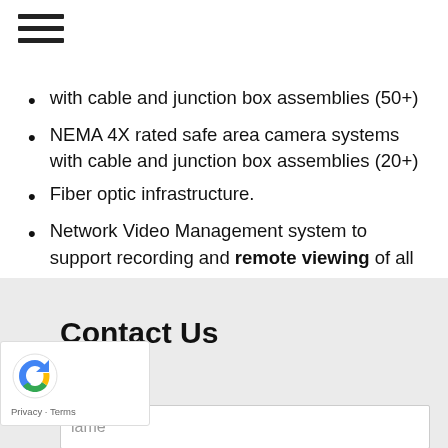[Figure (other): Hamburger menu icon with three horizontal lines]
with cable and junction box assemblies (50+)
NEMA 4X rated safe area camera systems with cable and junction box assemblies (20+)
Fiber optic infrastructure.
Network Video Management system to support recording and remote viewing of all system cameras.
Contact Us
Name
Name (input field placeholder)
Email